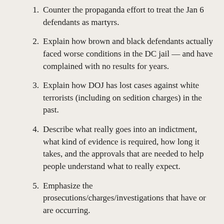Counter the propaganda effort to treat the Jan 6 defendants as martyrs.
Explain how brown and black defendants actually faced worse conditions in the DC jail — and have complained with no results for years.
Explain how DOJ has lost cases against white terrorists (including on sedition charges) in the past.
Describe what really goes into an indictment, what kind of evidence is required, how long it takes, and the approvals that are needed to help people understand what to really expect.
Emphasize the prosecutions/charges/investigations that have or are occurring.